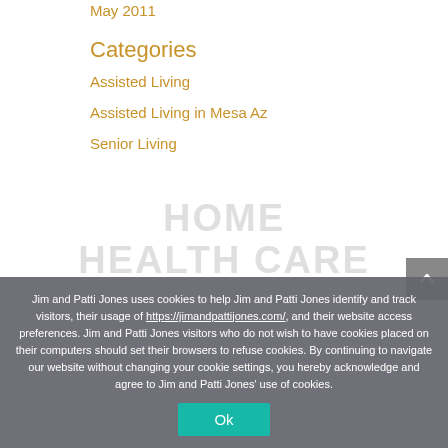May 2011
Categories
Assisted Living
Assisted Living in Mesa Az
Senior Living
Jim and Patti Jones uses cookies to help Jim and Patti Jones identify and track visitors, their usage of https://jimandpattijones.com/, and their website access preferences. Jim and Patti Jones visitors who do not wish to have cookies placed on their computers should set their browsers to refuse cookies. By continuing to navigate our website without changing your cookie settings, you hereby acknowledge and agree to Jim and Patti Jones' use of cookies.